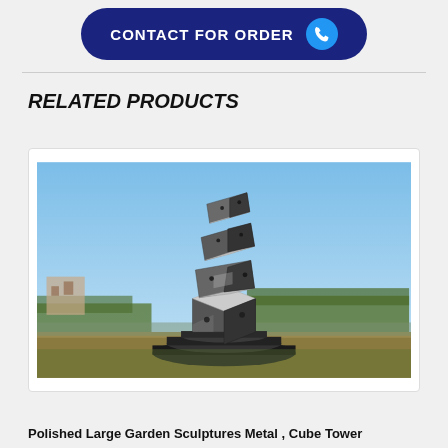[Figure (other): Dark blue rounded button with text CONTACT FOR ORDER and a blue circle phone icon on the right]
RELATED PRODUCTS
[Figure (photo): Outdoor sculpture of four large stainless steel mirror-polished cubes stacked and tilted on top of each other on a circular stepped black base, against a blue sky with trees and buildings in the background]
Polished Large Garden Sculptures Metal , Cube Tower